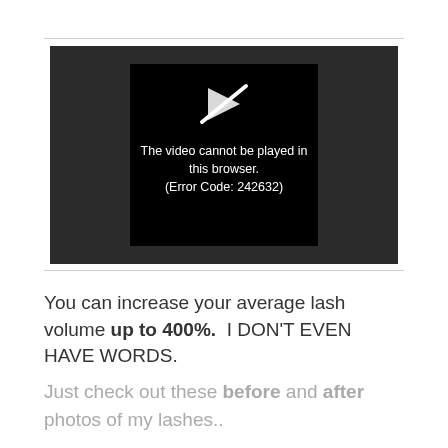[Figure (screenshot): Video player showing an error message on a black screen with a crossed-out play icon. Text reads: 'The video cannot be played in this browser. (Error Code: 242632)']
You can increase your average lash volume up to 400%.  I DON'T EVEN HAVE WORDS.
Just check out these before and after photos of my lashes..